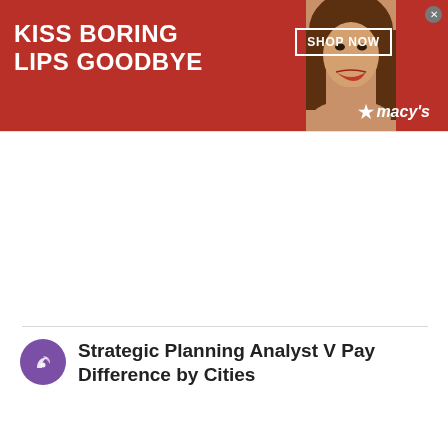[Figure (photo): Macy's advertisement banner with red background showing a woman's face with red lips. Text reads 'KISS BORING LIPS GOODBYE' with 'SHOP NOW' button and Macy's logo with star.]
Strategic Planning Analyst V Pay Difference by Cities
Medellin, CO
This site uses cookies and other similar technologies to provide site functionality, analyze traffic and usage, and